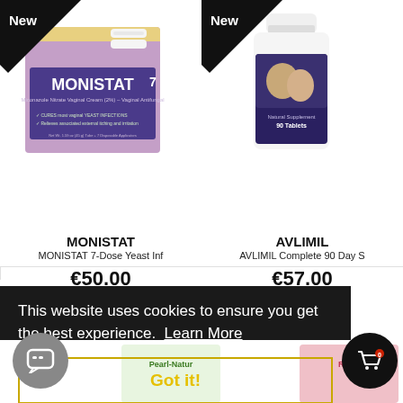[Figure (photo): Monistat 7 product box with 'New' ribbon in top-left corner]
MONISTAT
MONISTAT 7-Dose Yeast Inf
[Figure (photo): Avlimil supplement bottle with 'New' ribbon in top-left corner]
AVLIMIL
AVLIMIL Complete 90 Day S
€50.00
€57.00
This website uses cookies to ensure you get the best experience.  Learn More
Got it!